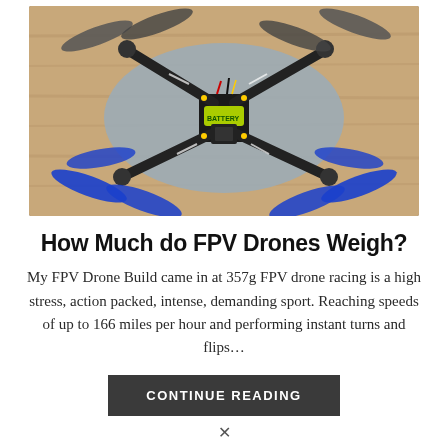[Figure (photo): Top-down photo of an FPV racing drone with blue tri-blade propellers, black carbon fiber frame, yellow-green battery, placed on a gray oval pad on a wooden surface]
How Much do FPV Drones Weigh?
My FPV Drone Build came in at 357g FPV drone racing is a high stress, action packed, intense, demanding sport. Reaching speeds of up to 166 miles per hour and performing instant turns and flips...
CONTINUE READING